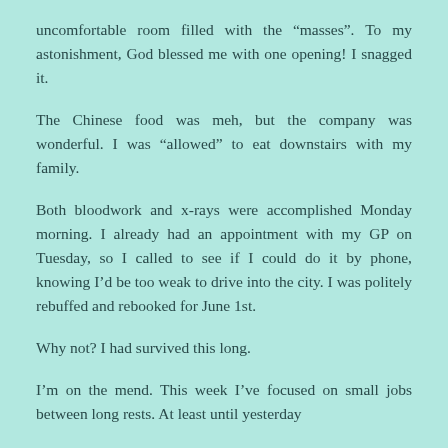uncomfortable room filled with the “masses”. To my astonishment, God blessed me with one opening! I snagged it.
The Chinese food was meh, but the company was wonderful. I was “allowed” to eat downstairs with my family.
Both bloodwork and x-rays were accomplished Monday morning. I already had an appointment with my GP on Tuesday, so I called to see if I could do it by phone, knowing I’d be too weak to drive into the city. I was politely rebuffed and rebooked for June 1st.
Why not? I had survived this long.
I’m on the mend. This week I’ve focused on small jobs between long rests. At least until yesterday